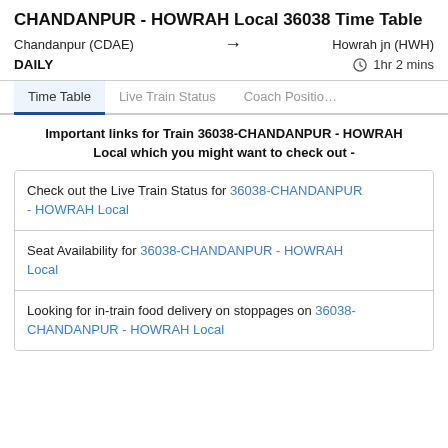CHANDANPUR - HOWRAH Local 36038 Time Table
Chandanpur (CDAE) → Howrah jn (HWH)
DAILY   ⏱ 1hr 2 mins
Time Table | Live Train Status | Coach Position
Important links for Train 36038-CHANDANPUR - HOWRAH Local which you might want to check out -
Check out the Live Train Status for 36038-CHANDANPUR - HOWRAH Local
Seat Availability for 36038-CHANDANPUR - HOWRAH Local
Looking for in-train food delivery on stoppages on 36038-CHANDANPUR - HOWRAH Local